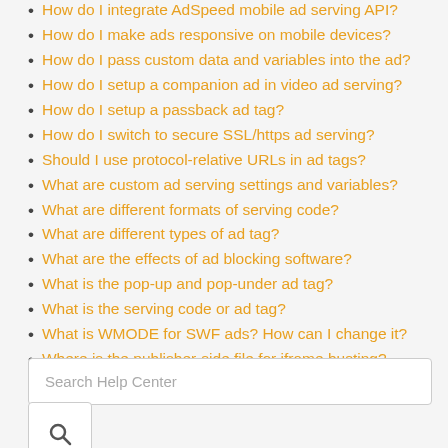How do I integrate AdSpeed mobile ad serving API?
How do I make ads responsive on mobile devices?
How do I pass custom data and variables into the ad?
How do I setup a companion ad in video ad serving?
How do I setup a passback ad tag?
How do I switch to secure SSL/https ad serving?
Should I use protocol-relative URLs in ad tags?
What are custom ad serving settings and variables?
What are different formats of serving code?
What are different types of ad tag?
What are the effects of ad blocking software?
What is the pop-up and pop-under ad tag?
What is the serving code or ad tag?
What is WMODE for SWF ads? How can I change it?
Where is the publisher-side file for iframe busting?
Why doesn't the provided HTML serving code work?
Search Help Center
[Figure (other): Search button with magnifying glass icon]